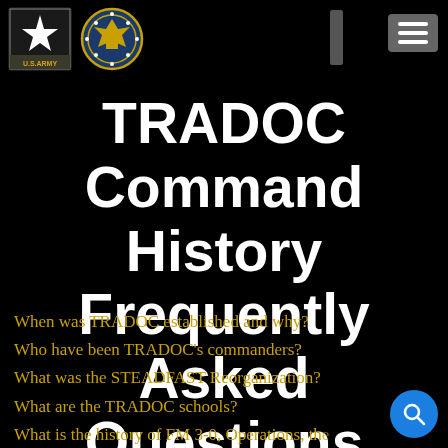[Figure (logo): U.S. Army star logo with 'U.S.ARMY' text below]
[Figure (logo): TRADOC circular military insignia badge]
TRADOC Command History Frequently Asked Questions
When was TRADOC established and why?
Who have been TRADOC's commanders?
What was the STEADFAST Reorganization?
What are the TRADOC schools?
What is the history of FM 3-0, Operations, the